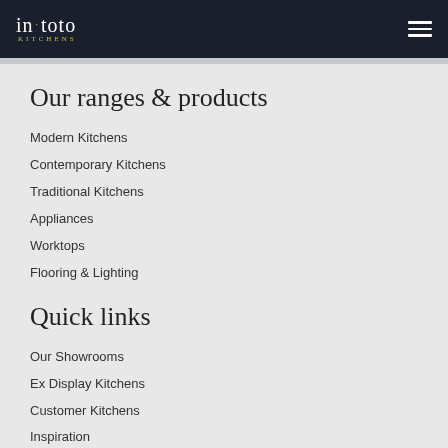in·toto KITCHENS
Our ranges & products
Modern Kitchens
Contemporary Kitchens
Traditional Kitchens
Appliances
Worktops
Flooring & Lighting
Quick links
Our Showrooms
Ex Display Kitchens
Customer Kitchens
Inspiration
Working with in-toto
News & Events